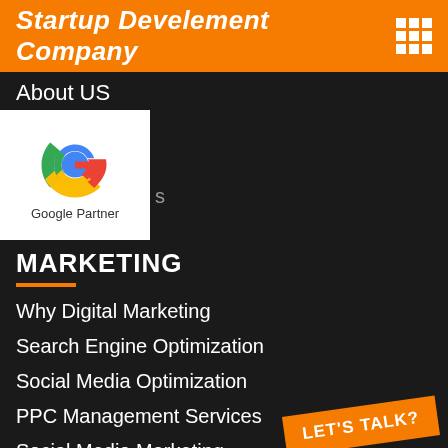Startup Develement Company
About US
[Figure (logo): Google Partner badge with Google G logo and text 'Google Partner']
MARKETING
Why Digital Marketing
Search Engine Optimization
Social Media Optimization
PPC Management Services
Social Media Marketing
Brand Management Services
Facebook Ads Services
LET'S TALK?